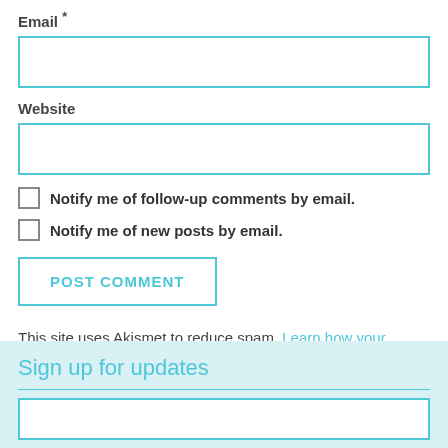Email *
Website
Notify me of follow-up comments by email.
Notify me of new posts by email.
POST COMMENT
This site uses Akismet to reduce spam. Learn how your comment data is processed.
Sign up for updates